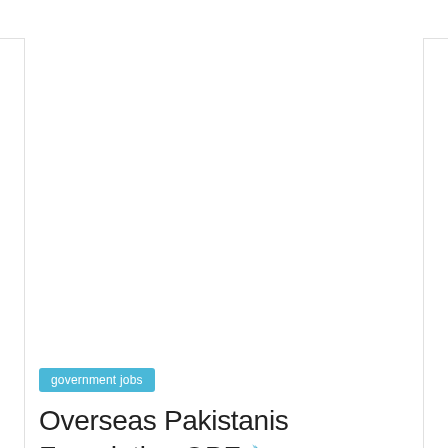[Figure (other): Large blank white advertisement or image placeholder area]
government jobs
Overseas Pakistanis Foundation OPF Jobs 2022